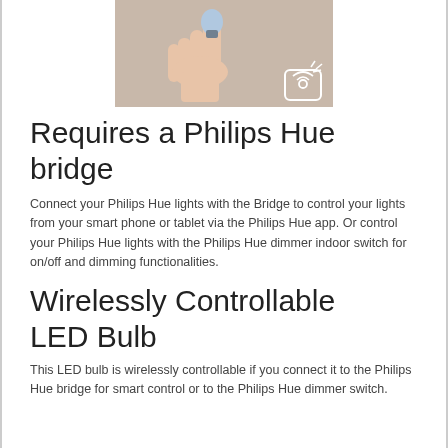[Figure (photo): A hand holding a Philips Hue LED bulb against a light grey background, with a wireless hub icon in the lower right corner.]
Requires a Philips Hue bridge
Connect your Philips Hue lights with the Bridge to control your lights from your smart phone or tablet via the Philips Hue app. Or control your Philips Hue lights with the Philips Hue dimmer indoor switch for on/off and dimming functionalities.
Wirelessly Controllable LED Bulb
This LED bulb is wirelessly controllable if you connect it to the Philips Hue bridge for smart control or to the Philips Hue dimmer switch.